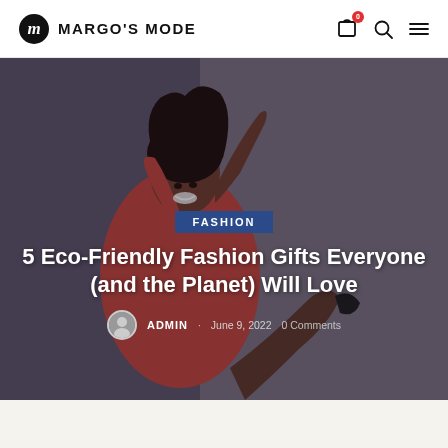MARGO'S MODE — navigation header with logo, cart, search, menu icons
[Figure (photo): Fashion photo of a woman in a red outfit posing dynamically against a grey background, used as a hero banner for a blog post about eco-friendly fashion gifts]
FASHION
5 Eco-Friendly Fashion Gifts Everyone (and the Planet) Will Love
ADMIN · June 9, 2022   0 Comments